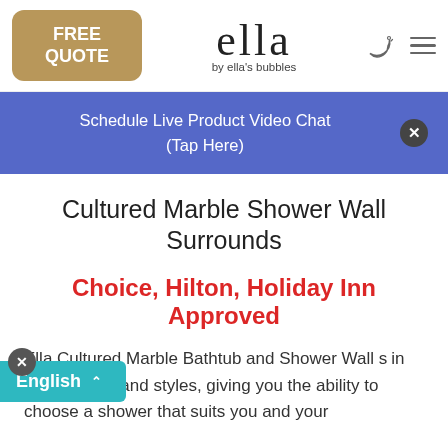FREE QUOTE | ella by ella's bubbles
[Figure (screenshot): Blue notification banner: Schedule Live Product Video Chat (Tap Here) with close X button]
Cultured Marble Shower Wall Surrounds
Choice, Hilton, Holiday Inn Approved
Ella Cultured Marble Bathtub and Shower Wall surrounds come in many colors and styles, giving you the ability to choose a shower that suits you and your